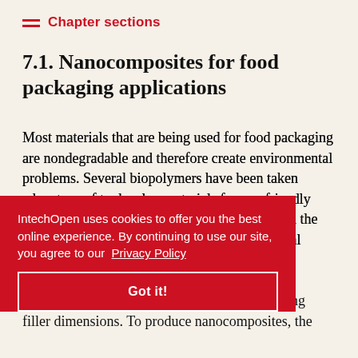Chapter sections
7.1. Nanocomposites for food packaging applications
Most materials that are being used for food packaging are nondegradable and therefore create environmental problems. Several biopolymers have been taken advantage of to develop materials for eco-friendly food packaging. There have been limitations on the use of biopolymers due to their poor mechanical barrier properties. This may be overcome by introducing compounds, improving the matrix–filler interaction, with decreasing filler dimensions. To produce nanocomposites, the
IntechOpen uses cookies to offer you the best online experience. By continuing to use our site, you agree to our Privacy Policy
Got it!